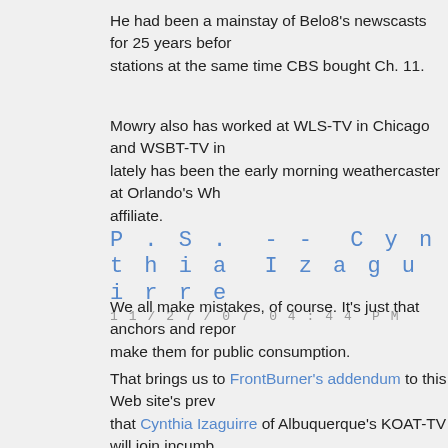He had been a mainstay of Belo8's newscasts for 25 years before stations at the same time CBS bought Ch. 11.
Mowry also has worked at WLS-TV in Chicago and WSBT-TV in lately has been the early morning weathercaster at Orlando's WK affiliate.
P.S. -- Cynthia Izaguirre
11/27/07 04:44 PM
We all make mistakes, of course. It's just that anchors and reporters make them for public consumption.
That brings us to FrontBurner's addendum to this Web site's previous story that Cynthia Izaguirre of Albuquerque's KOAT-TV will join incumbent Farmer as the new co-anchor on Belo8's Daybreak. It turns out that in a memorable blooper while anchoring at her old station.